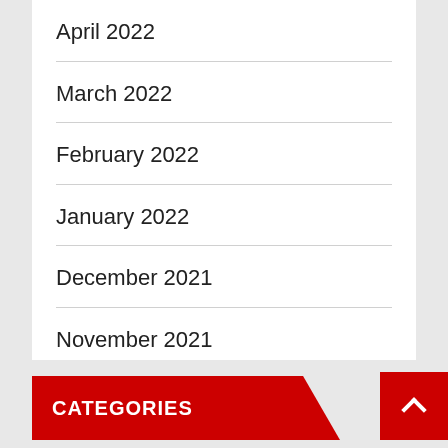April 2022
March 2022
February 2022
January 2022
December 2021
November 2021
October 2021
CATEGORIES